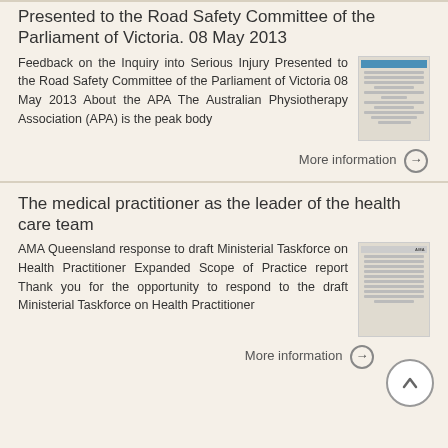Presented to the Road Safety Committee of the Parliament of Victoria. 08 May 2013
Feedback on the Inquiry into Serious Injury Presented to the Road Safety Committee of the Parliament of Victoria 08 May 2013 About the APA The Australian Physiotherapy Association (APA) is the peak body
[Figure (other): Thumbnail image of a document with blue header and text lines]
More information →
The medical practitioner as the leader of the health care team
AMA Queensland response to draft Ministerial Taskforce on Health Practitioner Expanded Scope of Practice report Thank you for the opportunity to respond to the draft Ministerial Taskforce on Health Practitioner
[Figure (other): Thumbnail image of a document with AMA header and dense text]
More information →